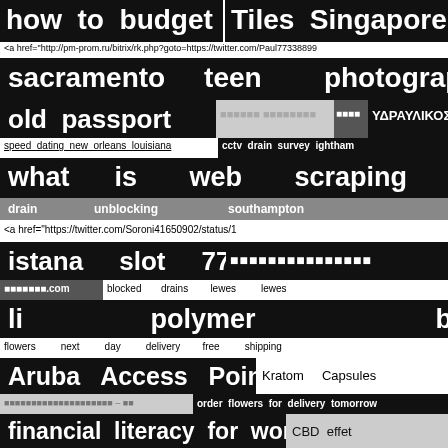[Figure (screenshot): A webpage showing a collage of search query text snippets and URL fragments rendered as a mosaic of black, grey, and white text blocks. Topics include budgeting, Singapore tiles, Sacramento teen photography, old passport, Ukrainian text, ΥΔΡΑΥΛΙΚΟΣ ΑΘΗΝΑ, speed dating, cctv drain survey, web scraping, drain unblocking Southampton, Twitter URLs, istana slot 777, Thai text, blocked drains lewes, li polymer battery, flowers next day delivery, Aruba Access Point, Kratom Capsules, financial literacy for women, CBD effet, ingrosso cannabis, flower deliveries for tomorrow, surferbill URL, download yo whatsapp, cheap next day flower, free vpn, does toys r us hire felons.]